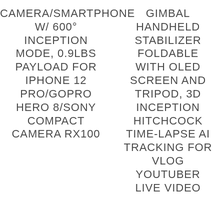CAMERA/SMARTPHONE W/ 600° INCEPTION MODE, 0.9LBS PAYLOAD FOR IPHONE 12 PRO/GOPRO HERO 8/SONY COMPACT CAMERA RX100
GIMBAL HANDHELD STABILIZER FOLDABLE WITH OLED SCREEN AND TRIPOD, 3D INCEPTION HITCHCOCK TIME-LAPSE AI TRACKING FOR VLOG YOUTUBER LIVE VIDEO